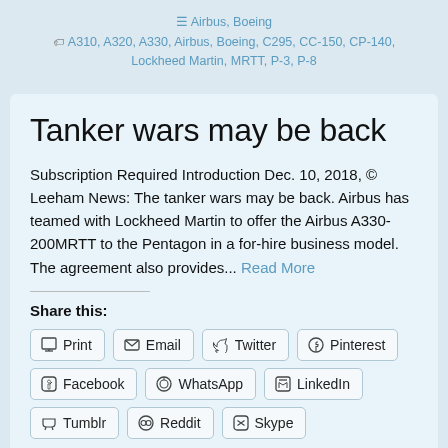≡ Airbus, Boeing
A310, A320, A330, Airbus, Boeing, C295, CC-150, CP-140, Lockheed Martin, MRTT, P-3, P-8
Tanker wars may be back
Subscription Required Introduction Dec. 10, 2018, © Leeham News: The tanker wars may be back. Airbus has teamed with Lockheed Martin to offer the Airbus A330-200MRTT to the Pentagon in a for-hire business model. The agreement also provides... Read More
Share this:
Print
Email
Twitter
Pinterest
Facebook
WhatsApp
LinkedIn
Tumblr
Reddit
Skype